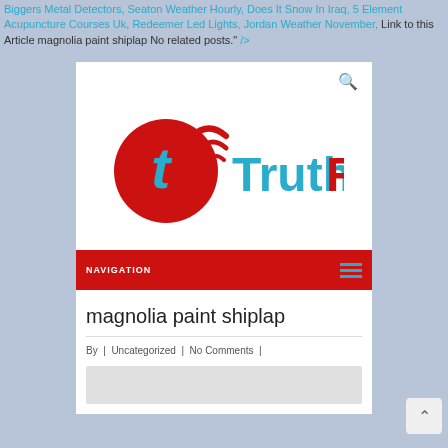Biggers Metal Detectors, Seaton Weather Hourly, Does It Snow In Iraq, 5 Element Acupuncture Courses Uk, Redeemer Led Lights, Jordan Weather November, Link to this Article magnolia paint shiplap No related posts.
[Figure (logo): TruthRss website logo with red circular icon with letter t and wifi signal arcs, and teal TruthRss text]
NAVIGATION
magnolia paint shiplap
By | Uncategorized | No Comments |